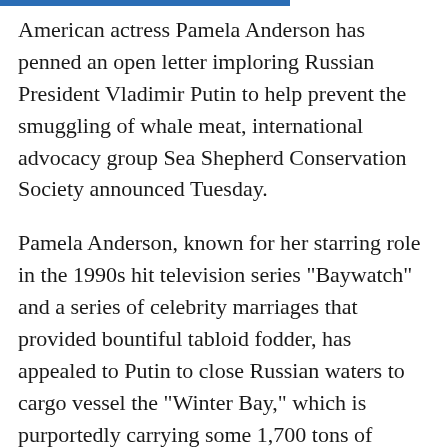American actress Pamela Anderson has penned an open letter imploring Russian President Vladimir Putin to help prevent the smuggling of whale meat, international advocacy group Sea Shepherd Conservation Society announced Tuesday.
Pamela Anderson, known for her starring role in the 1990s hit television series "Baywatch" and a series of celebrity marriages that provided bountiful tabloid fodder, has appealed to Putin to close Russian waters to cargo vessel the "Winter Bay," which is purportedly carrying some 1,700 tons of endangered fin whale meat from Iceland.
"I believe that we both share a mutual love